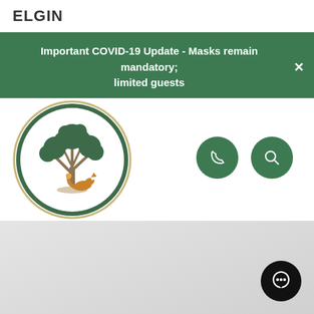ELGIN
Important COVID-19 Update - Masks remain mandatory; limited guests
[Figure (logo): Fox Valley Orthopedics circular logo featuring a tree and fox, with text 'FOX VALLEY ORTHOPEDICS' around the border]
[Figure (infographic): Two dark green circular icon buttons: a phone icon and a search/magnifying glass icon]